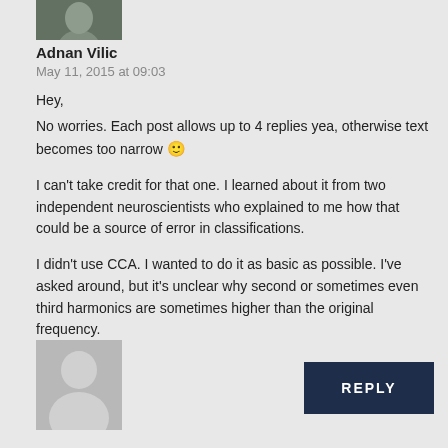[Figure (photo): Top portion of a profile photo showing a person, cropped at top of page]
Adnan Vilic
May 11, 2015 at 09:03
Hey,
No worries. Each post allows up to 4 replies yea, otherwise text becomes too narrow 🙂

I can't take credit for that one. I learned about it from two independent neuroscientists who explained to me how that could be a source of error in classifications.

I didn't use CCA. I wanted to do it as basic as possible. I've asked around, but it's unclear why second or sometimes even third harmonics are sometimes higher than the original frequency.
[Figure (illustration): Generic grey silhouette avatar placeholder for a user with no profile photo]
REPLY